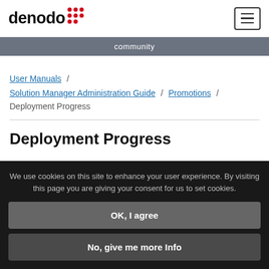[Figure (logo): Denodo logo with red dot grid and black text]
community
User Manuals / Solution Manager Administration Guide / Promotions / Deployment Progress
Deployment Progress
We use cookies on this site to enhance your user experience. By visiting this page you are giving your consent for us to set cookies.
OK, I agree
No, give me more Info